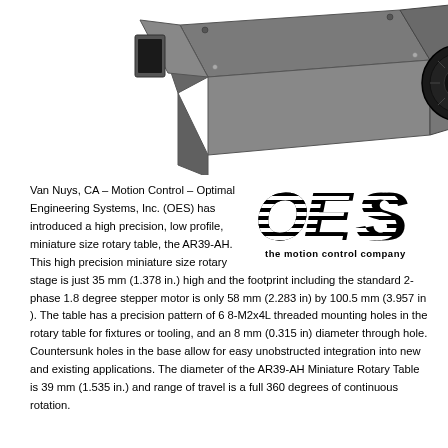[Figure (photo): Partial view of a miniature rotary table device (AR39-AH) in gray metallic finish with a black knurled knob, shown from above at an angle. The bottom portion of the device is visible against a white background.]
[Figure (logo): OES (Optimal Engineering Systems) logo — bold black lettering 'OES' with horizontal stripe shading, and tagline 'the motion control company' below.]
Van Nuys, CA – Motion Control – Optimal Engineering Systems, Inc. (OES) has introduced a high precision, low profile, miniature size rotary table, the AR39-AH. This high precision miniature size rotary stage is just 35 mm (1.378 in.) high and the footprint including the standard 2-phase 1.8 degree stepper motor is only 58 mm (2.283 in) by 100.5 mm (3.957 in ). The table has a precision pattern of 6 8-M2x4L threaded mounting holes in the rotary table for fixtures or tooling, and an 8 mm (0.315 in) diameter through hole. Countersunk holes in the base allow for easy unobstructed integration into new and existing applications. The diameter of the AR39-AH Miniature Rotary Table is 39 mm (1.535 in.) and range of travel is a full 360 degrees of continuous rotation.